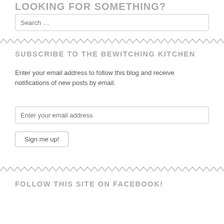LOOKING FOR SOMETHING? SEARCH HERE!
[Figure (other): Search input box with placeholder text 'Search ...']
[Figure (other): Zigzag decorative divider line]
SUBSCRIBE TO THE BEWITCHING KITCHEN
Enter your email address to follow this blog and receive notifications of new posts by email.
[Figure (other): Email address input box with placeholder 'Enter your email address']
[Figure (other): Sign me up! button]
[Figure (other): Zigzag decorative divider line]
FOLLOW THIS SITE ON FACEBOOK!